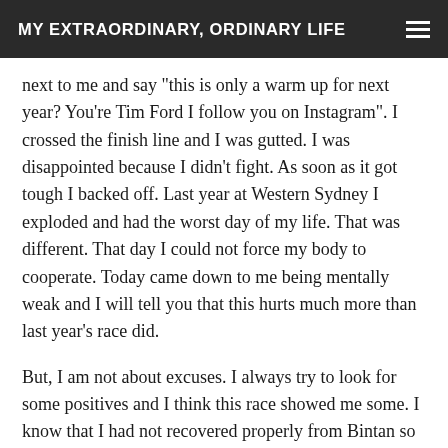MY EXTRAORDINARY, ORDINARY LIFE
next to me and say "this is only a warm up for next year? You're Tim Ford I follow you on Instagram". I crossed the finish line and I was gutted. I was disappointed because I didn't fight. As soon as it got tough I backed off. Last year at Western Sydney I exploded and had the worst day of my life. That was different. That day I could not force my body to cooperate. Today came down to me being mentally weak and I will tell you that this hurts much more than last year's race did.
But, I am not about excuses. I always try to look for some positives and I think this race showed me some. I know that I had not recovered properly from Bintan so racing too close together might not work for me as an athlete. I also know that I am not strong enough off the bike. It is good to gain insight from these failures so I am…